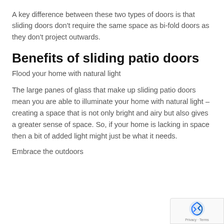A key difference between these two types of doors is that sliding doors don't require the same space as bi-fold doors as they don't project outwards.
Benefits of sliding patio doors
Flood your home with natural light
The large panes of glass that make up sliding patio doors mean you are able to illuminate your home with natural light – creating a space that is not only bright and airy but also gives a greater sense of space. So, if your home is lacking in space then a bit of added light might just be what it needs.
Embrace the outdoors